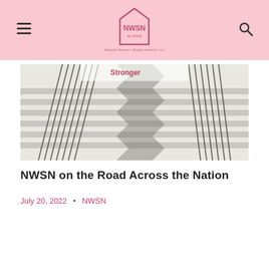NWSN — National Women's Shelter Network, LLC
[Figure (photo): Outdoor concrete staircase with black metal railings casting zigzag shadows, banner reading 'Stronger' visible in background]
NWSN on the Road Across the Nation
July 20, 2022  •  NWSN